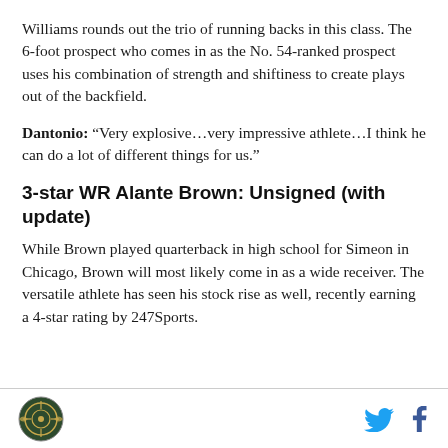Williams rounds out the trio of running backs in this class. The 6-foot prospect who comes in as the No. 54-ranked prospect uses his combination of strength and shiftiness to create plays out of the backfield.
Dantonio: “Very explosive…very impressive athlete…I think he can do a lot of different things for us.”
3-star WR Alante Brown: Unsigned (with update)
While Brown played quarterback in high school for Simeon in Chicago, Brown will most likely come in as a wide receiver. The versatile athlete has seen his stock rise as well, recently earning a 4-star rating by 247Sports.
[Figure (logo): Circular logo with crosshair/target design, dark green and gold colors]